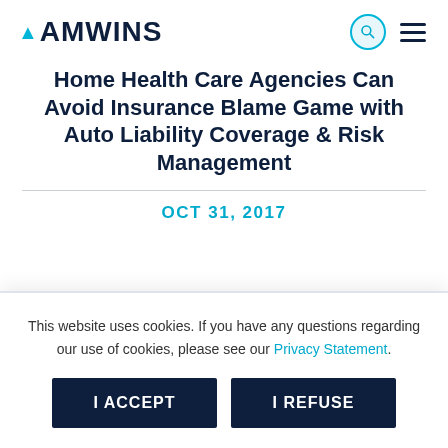AMWINS
Home Health Care Agencies Can Avoid Insurance Blame Game with Auto Liability Coverage & Risk Management
OCT 31, 2017
This website uses cookies. If you have any questions regarding our use of cookies, please see our Privacy Statement.
I ACCEPT | I REFUSE